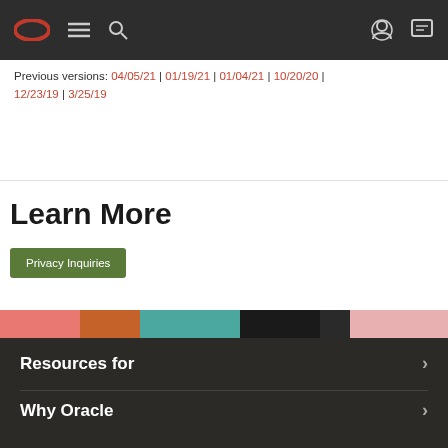Oracle navigation header with logo, menu, search, account, and chat icons
Previous versions: 04/05/21 | 01/19/21 | 01/04/21 | 10/20/20 | 12/23/19 | 3/25/19
Learn More
Privacy Inquiries
[Figure (illustration): Colorful illustrated banner strip with abstract shapes in pink, brown, teal, black, and light pink]
Resources for
Why Oracle